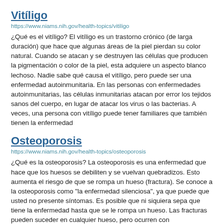Vitíligo
https://www.niams.nih.gov/health-topics/vitiligo
¿Qué es el vitíligo? El vitíligo es un trastorno crónico (de larga duración) que hace que algunas áreas de la piel pierdan su color natural. Cuando se atacan y se destruyen las células que producen la pigmentación o color de la piel, esta adquiere un aspecto blanco lechoso. Nadie sabe qué causa el vitíligo, pero puede ser una enfermedad autoinmunitaria. En las personas con enfermedades autoinmunitarias, las células inmunitarias atacan por error los tejidos sanos del cuerpo, en lugar de atacar los virus o las bacterias. A veces, una persona con vitíligo puede tener familiares que también tienen la enfermedad
Osteoporosis
https://www.niams.nih.gov/health-topics/osteoporosis
¿Qué es la osteoporosis? La osteoporosis es una enfermedad que hace que los huesos se debiliten y se vuelvan quebradizos. Esto aumenta el riesgo de que se rompa un hueso (fractura). Se conoce a la osteoporosis como "la enfermedad silenciosa", ya que puede que usted no presente síntomas. Es posible que ni siquiera sepa que tiene la enfermedad hasta que se le rompa un hueso. Las fracturas pueden suceder en cualquier hueso, pero ocurren con